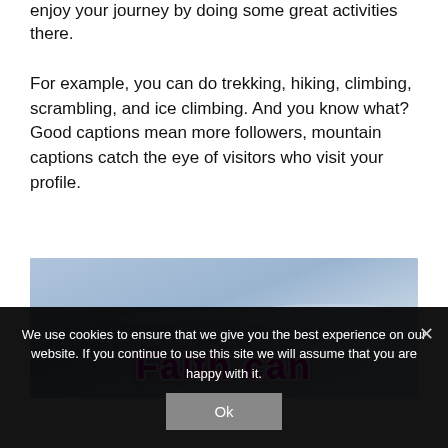enjoy your journey by doing some great activities there.
For example, you can do trekking, hiking, climbing, scrambling, and ice climbing. And you know what? Good captions mean more followers, mountain captions catch the eye of visitors who visit your profile.
[Figure (photo): Sky background image with purple bubble-style text reading 'Faith can']
We use cookies to ensure that we give you the best experience on our website. If you continue to use this site we will assume that you are happy with it.